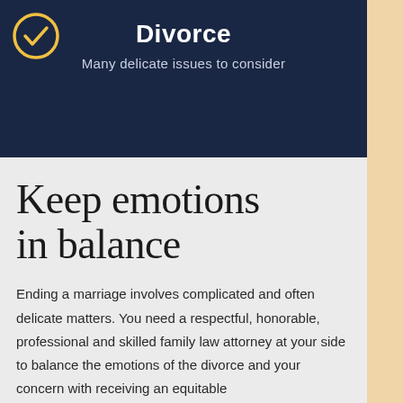Divorce
Many delicate issues to consider
Keep emotions in balance
Ending a marriage involves complicated and often delicate matters. You need a respectful, honorable, professional and skilled family law attorney at your side to balance the emotions of the divorce and your concern with receiving an equitable